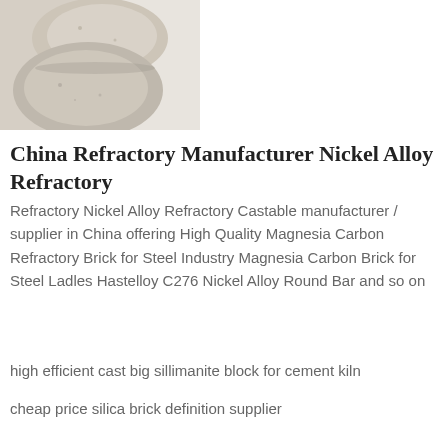[Figure (photo): Photo of pale beige/cream colored rounded stones or refractory balls stacked together on a light background]
China Refractory Manufacturer Nickel Alloy Refractory
Refractory Nickel Alloy Refractory Castable manufacturer / supplier in China offering High Quality Magnesia Carbon Refractory Brick for Steel Industry Magnesia Carbon Brick for Steel Ladles Hastelloy C276 Nickel Alloy Round Bar and so on
high efficient cast big sillimanite block for cement kiln
cheap price silica brick definition supplier